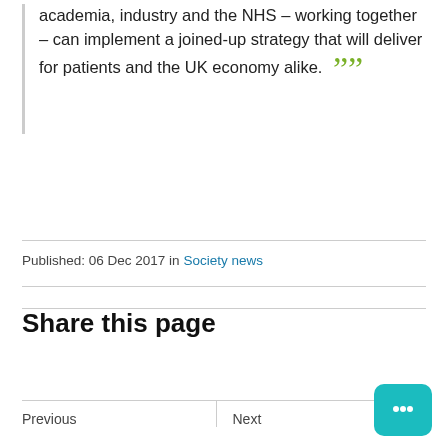academia, industry and the NHS – working together – can implement a joined-up strategy that will deliver for patients and the UK economy alike. ””
Published: 06 Dec 2017 in Society news
Share this page
Previous
Next